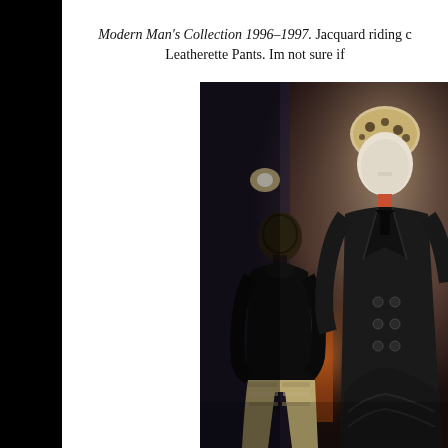Modern Man's Collection 1996–1997. Jacquard riding coat. Leatherette Pants. Im not sure if
[Figure (photo): Museum display of two mannequins wearing dark fashion garments from the Modern Man's Collection 1996-1997. Left mannequin wears a black turtleneck with light patterned pants, facing away. Right mannequin faces forward wearing a dark double-breasted coat with leopard print cap, against a dramatic dark background with warm lighting.]